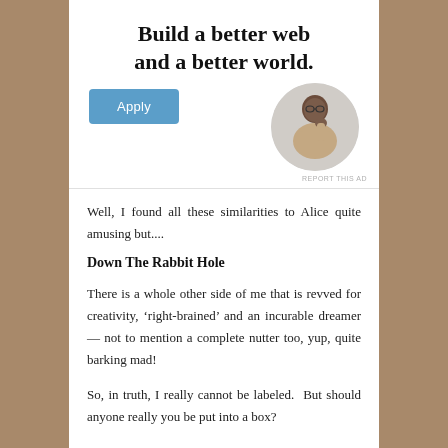Build a better web and a better world.
[Figure (photo): An Apply button in blue, and a circular portrait photo of a man thinking, resting his chin on his hand]
REPORT THIS AD
Well, I found all these similarities to Alice quite amusing but....
Down The Rabbit Hole
There is a whole other side of me that is revved for creativity, ‘right-brained’ and an incurable dreamer — not to mention a complete nutter too, yup, quite barking mad!
So, in truth, I really cannot be labeled.  But should anyone really you be put into a box?